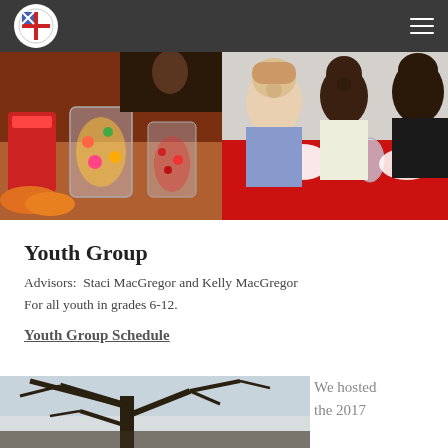Episcopal Church — Navigation header with logo and hamburger menu
[Figure (photo): Two photos side by side: left shows candy/snack jars on a table at a youth event; right shows three young women smiling at a table with a red tablecloth at a youth event.]
Youth Group
Advisors:  Staci MacGregor and Kelly MacGregor
For all youth in grades 6-12.
Youth Group Schedule
[Figure (photo): Bare tree branches against a light sky, partial view at bottom of page.]
We hosted the 2017